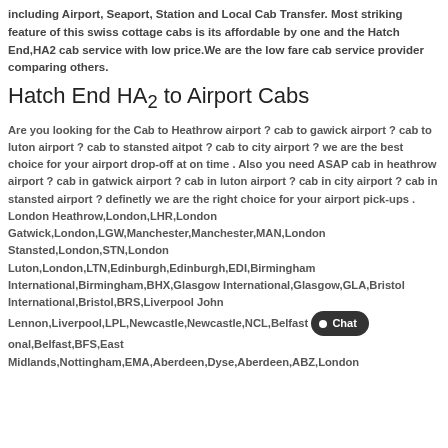including Airport, Seaport, Station and Local Cab Transfer. Most striking feature of this swiss cottage cabs is its affordable by one and the Hatch End,HA2 cab service with low price.We are the low fare cab service provider comparing others.
Hatch End HA2 to Airport Cabs
Are you looking for the Cab to Heathrow airport ? cab to gawick airport ? cab to luton airport ? cab to stansted aitpot ? cab to city airport ? we are the best choice for your airport drop-off at on time . Also you need ASAP cab in heathrow airport ? cab in gatwick airport ? cab in luton airport ? cab in city airport ? cab in stansted airport ? definetly we are the right choice for your airport pick-ups . London Heathrow,London,LHR,London Gatwick,London,LGW,Manchester,Manchester,MAN,London Stansted,London,STN,London Luton,London,LTN,Edinburgh,Edinburgh,EDI,Birmingham International,Birmingham,BHX,Glasgow International,Glasgow,GLA,Bristol International,Bristol,BRS,Liverpool John Lennon,Liverpool,LPL,Newcastle,Newcastle,NCL,Belfast [Chat] onal,Belfast,BFS,East Midlands,Nottingham,EMA,Aberdeen,Dyse,Aberdeen,ABZ,London